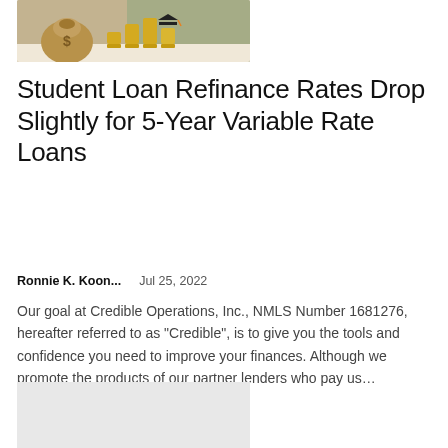[Figure (photo): Photo of a burlap money bag with dollar sign and stacked coins in background]
Student Loan Refinance Rates Drop Slightly for 5-Year Variable Rate Loans
Ronnie K. Koon...    Jul 25, 2022
Our goal at Credible Operations, Inc., NMLS Number 1681276, hereafter referred to as "Credible", is to give you the tools and confidence you need to improve your finances. Although we promote the products of our partner lenders who pay us...
[Figure (photo): Light gray placeholder image box]